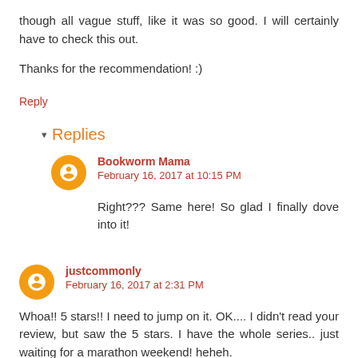though all vague stuff, like it was so good. I will certainly have to check this out.
Thanks for the recommendation! :)
Reply
▾ Replies
Bookworm Mama
February 16, 2017 at 10:15 PM
Right??? Same here! So glad I finally dove into it!
justcommonly
February 16, 2017 at 2:31 PM
Whoa!! 5 stars!! I need to jump on it. OK.... I didn't read your review, but saw the 5 stars. I have the whole series.. just waiting for a marathon weekend! heheh.